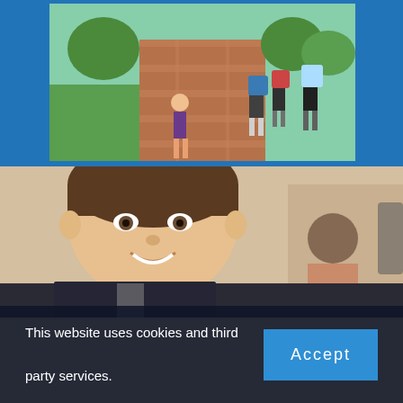[Figure (photo): Students walking on a brick campus pathway outdoors, some with backpacks, green grass and trees visible, sunny day]
[Figure (photo): A young male student smiling at camera in the foreground, a female student blurred in background in an indoor setting]
This website uses cookies and third party services.
Accept